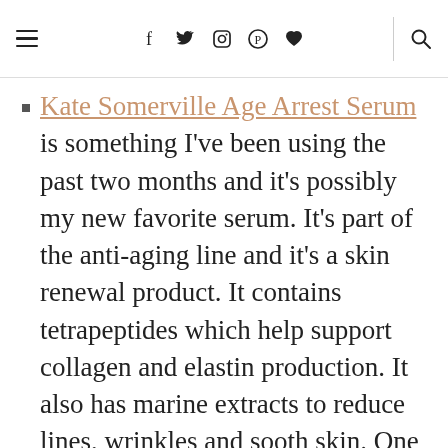☰  f  𝕏  ◎  𝐏  ♥  | 🔍
Kate Somerville Age Arrest Serum is something I've been using the past two months and it's possibly my new favorite serum. It's part of the anti-aging line and it's a skin renewal product. It contains tetrapeptides which help support collagen and elastin production. It also has marine extracts to reduce lines, wrinkles and sooth skin. One to two pumps of this gives the skin a smooth base and it really does make lines disappear in front of my eyes. It gives the skin a smooth look and feel unlike any serum I've tried before. I haven't tried the cream or other items in the line